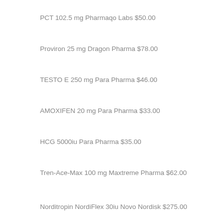PCT 102.5 mg Pharmaqo Labs $50.00
Proviron 25 mg Dragon Pharma $78.00
TESTO E 250 mg Para Pharma $46.00
AMOXIFEN 20 mg Para Pharma $33.00
HCG 5000iu Para Pharma $35.00
Tren-Ace-Max 100 mg Maxtreme Pharma $62.00
Norditropin NordiFlex 30iu Novo Nordisk $275.00